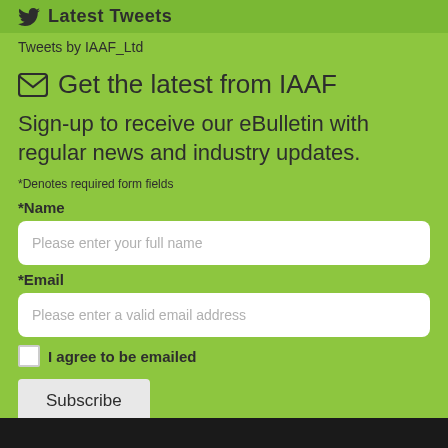Latest Tweets
Tweets by IAAF_Ltd
Get the latest from IAAF
Sign-up to receive our eBulletin with regular news and industry updates.
*Denotes required form fields
*Name
Please enter your full name
*Email
Please enter a valid email address
I agree to be emailed
Subscribe